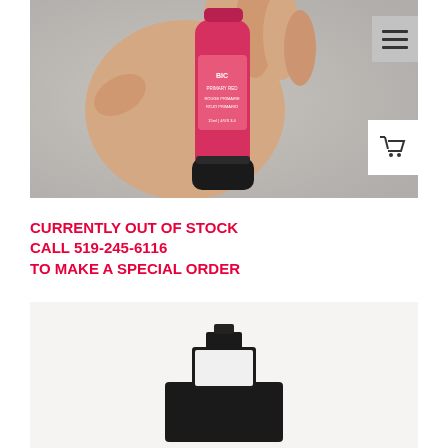[Figure (photo): A hand holding a small red tube of paint (appears to be Primary Red, 15ml) with a black cap, against a light gray background. Menu icon visible top right, shopping cart icon visible right side.]
CURRENTLY OUT OF STOCK
CALL 519-245-6116
TO MAKE A SPECIAL ORDER
[Figure (photo): A black art supply item (possibly a paint tube or brush holder) displayed against a white background, partially visible at bottom of page.]